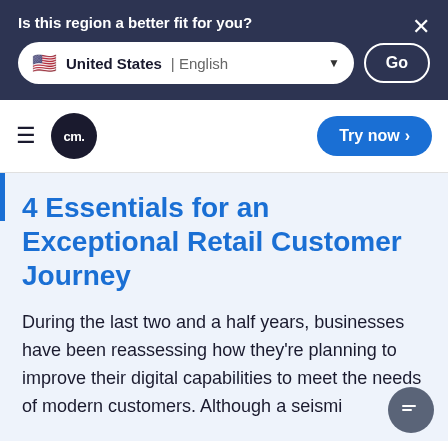Is this region a better fit for you?
United States | English
Go
[Figure (logo): CM. logo - black circle with white CM. text]
Try now >
4 Essentials for an Exceptional Retail Customer Journey
During the last two and a half years, businesses have been reassessing how they're planning to improve their digital capabilities to meet the needs of modern customers. Although a seismic